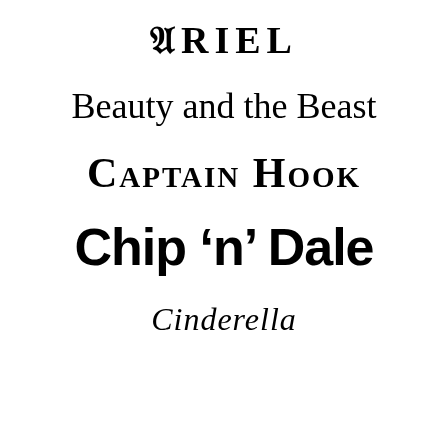ARIEL
Beauty and the Beast
Captain Hook
Chip 'n' Dale
Cinderella